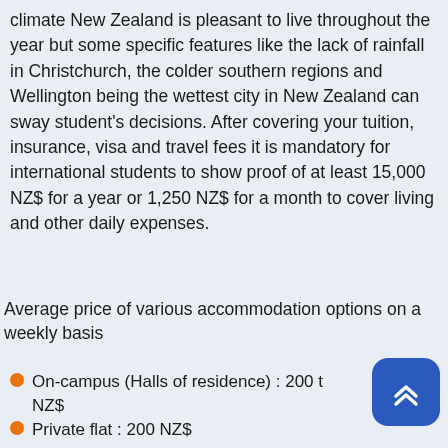climate New Zealand is pleasant to live throughout the year but some specific features like the lack of rainfall in Christchurch, the colder southern regions and Wellington being the wettest city in New Zealand can sway student's decisions. After covering your tuition, insurance, visa and travel fees it is mandatory for international students to show proof of at least 15,000 NZ$ for a year or 1,250 NZ$ for a month to cover living and other daily expenses.
Average price of various accommodation options on a weekly basis
On-campus (Halls of residence) : 200 to NZ$
Private flat : 200 NZ$